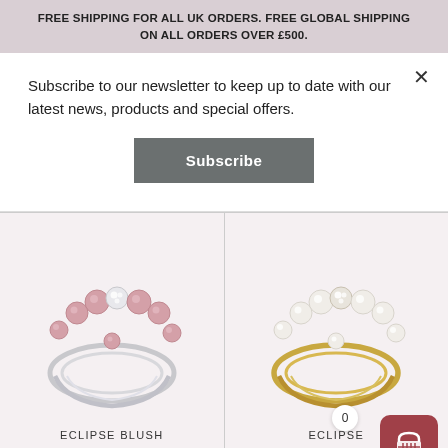FREE SHIPPING FOR ALL UK ORDERS. FREE GLOBAL SHIPPING ON ALL ORDERS OVER £500.
Subscribe to our newsletter to keep up to date with our latest news, products and special offers.
Subscribe
[Figure (photo): Silver ring with pink/blush pearls arranged in an arc with a diamond cluster center — Eclipse Blush ring]
[Figure (photo): Gold ring with white/cream pearls arranged in an arc with a diamond cluster center — Eclipse ring]
ECLIPSE BLUSH
ECLIPSE